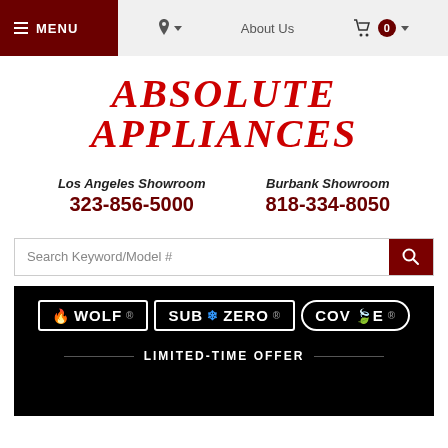≡ MENU | Location ▾ | About Us | 🛒 0 ▾
ABSOLUTE APPLIANCES
Los Angeles Showroom
323-856-5000
Burbank Showroom
818-334-8050
Search Keyword/Model #
[Figure (logo): Wolf, Sub-Zero, and Cove brand logos on black background with LIMITED-TIME OFFER text below]